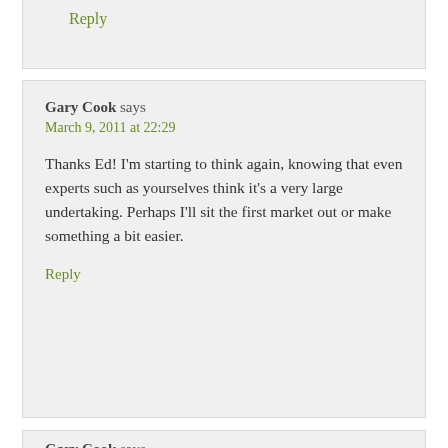Reply
Gary Cook says
March 9, 2011 at 22:29
Thanks Ed! I'm starting to think again, knowing that even experts such as yourselves think it's a very large undertaking. Perhaps I'll sit the first market out or make something a bit easier.
Reply
Gary Cook says
March 8, 2011 at 14:03